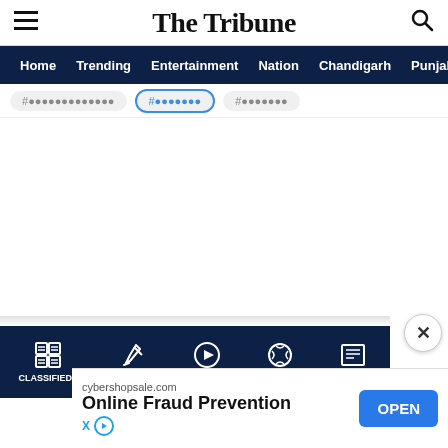The Tribune
Home  Trending  Entertainment  Nation  Chandigarh  Punjab
[Figure (screenshot): Trending topic tag pills partially visible]
[Figure (screenshot): Bottom navigation bar with icons: Classifieds, Opinion, Videos, Sports, Epaper]
cybershopsale.com
Online Fraud Prevention
OPEN